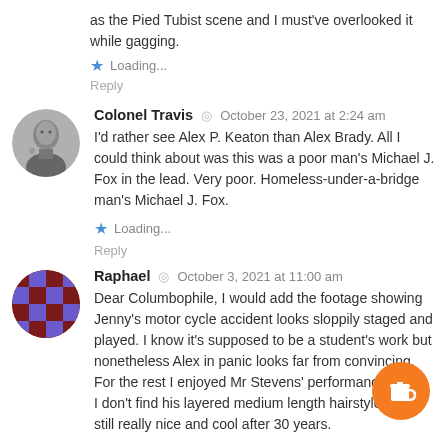as the Pied Tubist scene and I must've overlooked it while gagging.
Loading...
Reply
Colonel Travis  October 23, 2021 at 2:24 am
I'd rather see Alex P. Keaton than Alex Brady. All I could think about was this was a poor man's Michael J. Fox in the lead. Very poor. Homeless-under-a-bridge man's Michael J. Fox.
Loading...
Reply
Raphael  October 3, 2021 at 11:00 am
Dear Columbophile, I would add the footage showing Jenny's motor cycle accident looks sloppily staged and played. I know it's supposed to be a student's work but nonetheless Alex in panic looks far from convincing. For the rest I enjoyed Mr Stevens' performance.
I don't find his layered medium length hairstyle 'crim still really nice and cool after 30 years.